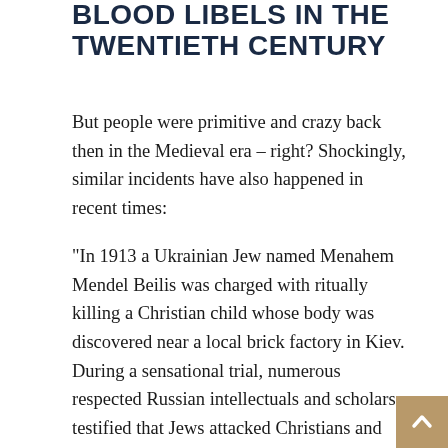BLOOD LIBELS IN THE TWENTIETH CENTURY
But people were primitive and crazy back then in the Medieval era – right? Shockingly, similar incidents have also happened in recent times:
“In 1913 a Ukrainian Jew named Menahem Mendel Beilis was charged with ritually killing a Christian child whose body was discovered near a local brick factory in Kiev.  During a sensational trial, numerous respected Russian intellectuals and scholars testified that Jews attacked Christians and used their blood in obscene rituals.  Ultimately Beilis w